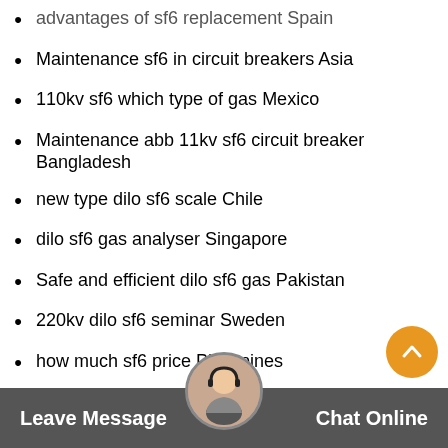advantages of sf6 replacement Spain
Maintenance sf6 in circuit breakers Asia
110kv sf6 which type of gas Mexico
Maintenance abb 11kv sf6 circuit breaker Bangladesh
new type dilo sf6 scale Chile
dilo sf6 gas analyser Singapore
Safe and efficient dilo sf6 gas Pakistan
220kv dilo sf6 seminar Sweden
how much sf6 price Philippines
advantages of dilo sf6 service cart Europe
best dilo sf6 compressor Brazil
220kv 33kv sf6 outdoor circuit breaker Finland
Custom Designed 220kv sf6 circuit breaker Sweden
new Leave Message gas analyserain